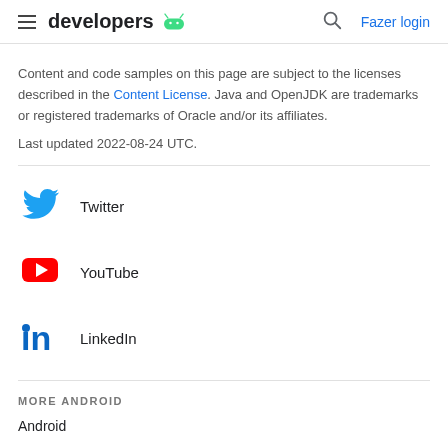developers [Android logo] [Search] Fazer login
Content and code samples on this page are subject to the licenses described in the Content License. Java and OpenJDK are trademarks or registered trademarks of Oracle and/or its affiliates.
Last updated 2022-08-24 UTC.
[Figure (logo): Twitter bird logo in blue]
Twitter
[Figure (logo): YouTube play button logo in red]
YouTube
[Figure (logo): LinkedIn 'in' logo in blue]
LinkedIn
MORE ANDROID
Android